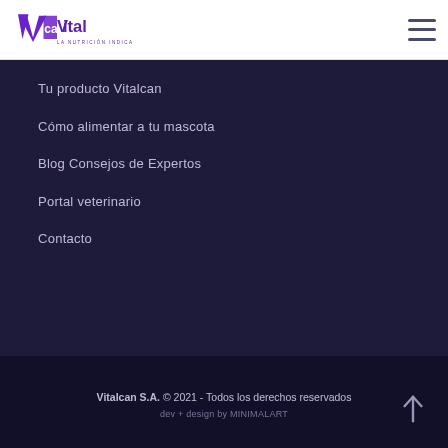[Figure (logo): Vitalcan logo with purple triangle/arrow mark and text 'Vitalcan' in purple, with tagline 'LA NUTRICIÓN INDICADA' below in small caps]
Tu producto Vitalcan
Cómo alimentar a tu mascota
Blog Consejos de Expertos
Portal veterinario
Contacto
Vitalcan S.A. © 2021 - Todos los derechos reservados
dev + design by MINIMALART